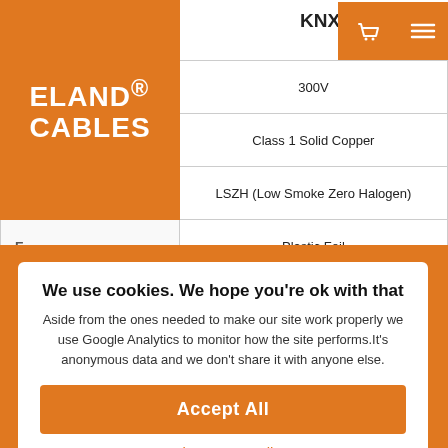| PROPERTY | VALUE |
| --- | --- |
| VOLTAGE | 300V |
| CONDUCTOR | Class 1 Solid Copper |
| INSULATION | LSZH (Low Smoke Zero Halogen) |
| TAPE | Plastic Foil |
| SCREEN | Al/PET (Aluminium/Polyester Tape) |
| DRAIN WIRE | Tinned Copper |
| OUTER SHEATH | LSZH (Low Smoke Zero Halogen) |
[Figure (logo): Eland Cables logo — orange background with white text reading ELAND® CABLES]
We use cookies. We hope you're ok with that
Aside from the ones needed to make our site work properly we use Google Analytics to monitor how the site performs.It's anonymous data and we don't share it with anyone else.
Accept All
Settings  Decline